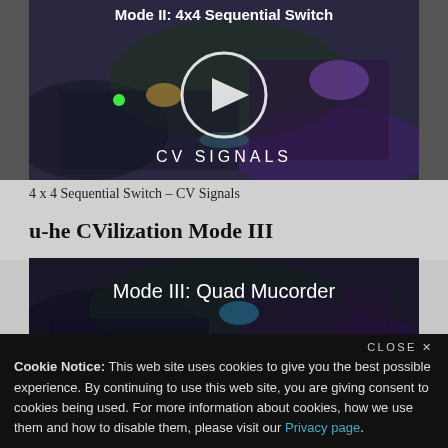[Figure (screenshot): Video thumbnail for '4x4 Sequential Switch – CV Signals' showing dark blurred hardware image with play button circle and 'CV SIGNALS' overlay text]
4 x 4 Sequential Switch – CV Signals
u-he CVilization Mode III
[Figure (screenshot): Video thumbnail for 'Mode III: Quad Mucorder' showing dark blurred hardware image with partial play button visible]
Cookie Notice: This web site uses cookies to give you the best possible experience. By continuing to use this web site, you are giving consent to cookies being used. For more information about cookies, how we use them and how to disable them, please visit our Privacy page.